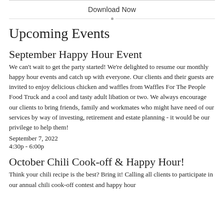Download Now
Upcoming Events
September Happy Hour Event
We can't wait to get the party started! We're delighted to resume our monthly happy hour events and catch up with everyone. Our clients and their guests are invited to enjoy delicious chicken and waffles from Waffles For The People Food Truck and a cool and tasty adult libation or two. We always encourage our clients to bring friends, family and workmates who might have need of our services by way of investing, retirement and estate planning - it would be our privilege to help them!
September 7, 2022
4:30p - 6:00p
October Chili Cook-off & Happy Hour!
Think your chili recipe is the best? Bring it! Calling all clients to participate in our annual chili cook-off contest and happy hour